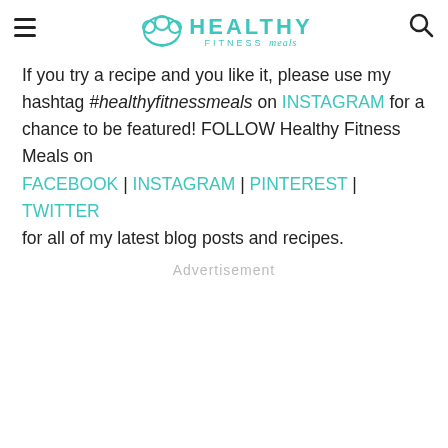Healthy Fitness Meals
If you try a recipe and you like it, please use my hashtag #healthyfitnessmeals on INSTAGRAM for a chance to be featured! FOLLOW Healthy Fitness Meals on FACEBOOK | INSTAGRAM | PINTEREST | TWITTER for all of my latest blog posts and recipes.
Advertisement